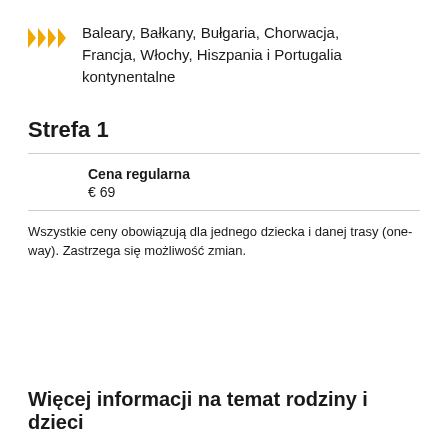Baleary, Bałkany, Bułgaria, Chorwacja, Francja, Włochy, Hiszpania i Portugalia kontynentalne
Strefa 1
Cena regularna
€ 69
Wszystkie ceny obowiązują dla jednego dziecka i danej trasy (one-way). Zastrzega się możliwość zmian.
Więcej informacji na temat rodziny i dzieci